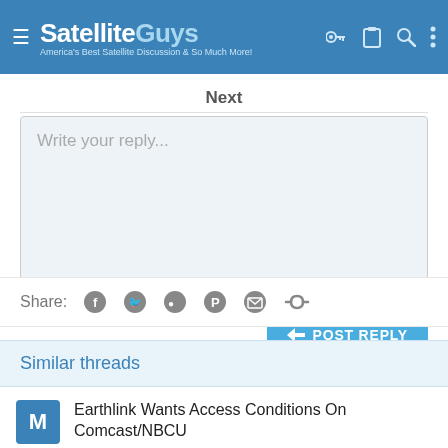SatelliteGuys — America's Best Satellite Discussion & So Much More!
Next
Write your reply...
POST REPLY
Share:
Similar threads
Earthlink Wants Access Conditions On Comcast/NBCU
Multichannel News